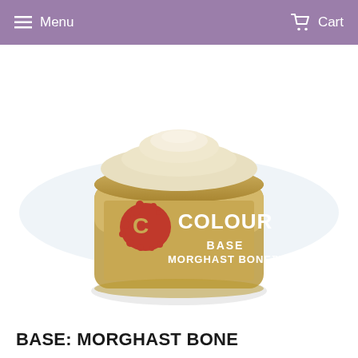Menu  Cart
[Figure (photo): A cylindrical paint pot for Citadel Colour Base: Morghast Bone. The pot is filled with a warm tan/bone coloured paint. The label shows a red paint splatter logo with 'COLOUR' in large white letters, 'BASE' and 'MORGHAST BONE' in white text below. The lid is translucent cream/beige. The background behind the pot is a soft light blue-white gradient.]
BASE: MORGHAST BONE